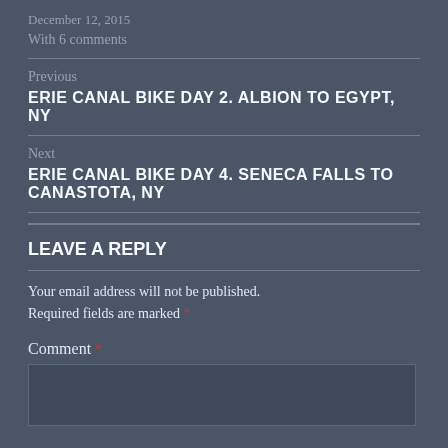December 12, 2015
With 6 comments
Previous
ERIE CANAL BIKE DAY 2. ALBION TO EGYPT, NY
Next
ERIE CANAL BIKE DAY 4. SENECA FALLS TO CANASTOTA, NY
LEAVE A REPLY
Your email address will not be published. Required fields are marked *
Comment *